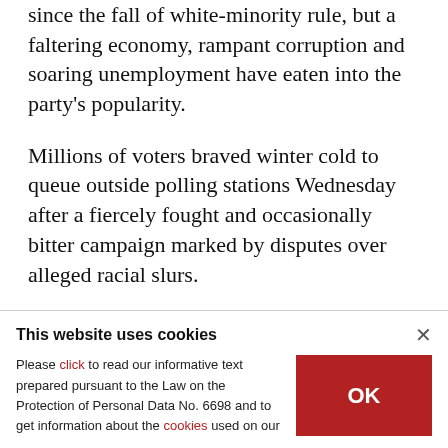since the fall of white-minority rule, but a faltering economy, rampant corruption and soaring unemployment have eaten into the party's popularity.
Millions of voters braved winter cold to queue outside polling stations Wednesday after a fiercely fought and occasionally bitter campaign marked by disputes over alleged racial slurs.
A final Ipsos survey earlier this week placed the
This website uses cookies

Please click to read our informative text prepared pursuant to the Law on the Protection of Personal Data No. 6698 and to get information about the cookies used on our